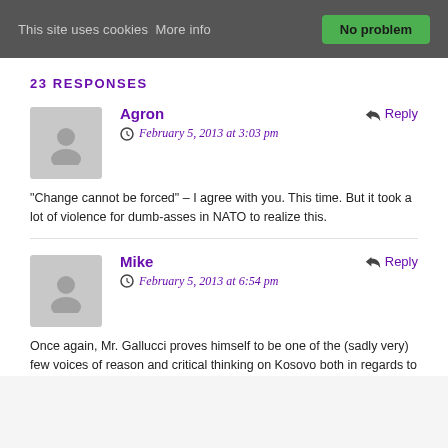This site uses cookies More info  No problem
23 RESPONSES
Agron
February 5, 2013 at 3:03 pm
"Change cannot be forced" – I agree with you. This time. But it took a lot of violence for dumb-asses in NATO to realize this.
Mike
February 5, 2013 at 6:54 pm
Once again, Mr. Gallucci proves himself to be one of the (sadly very) few voices of reason and critical thinking on Kosovo both in regards to